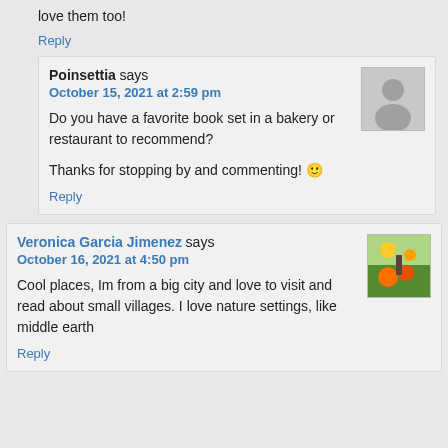love them too!
Reply
Poinsettia says
October 15, 2021 at 2:59 pm
Do you have a favorite book set in a bakery or restaurant to recommend?

Thanks for stopping by and commenting! 🙂
Reply
Veronica Garcia Jimenez says
October 16, 2021 at 4:50 pm
Cool places, Im from a big city and love to visit and read about small villages. I love nature settings, like middle earth
Reply